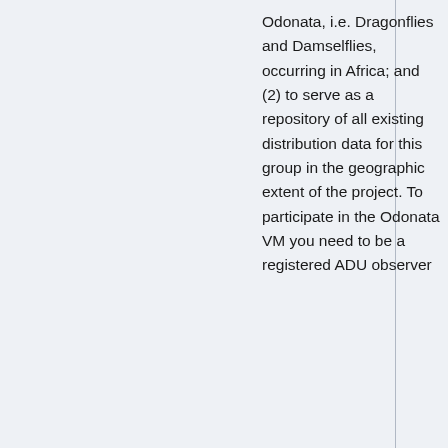Odonata, i.e. Dragonflies and Damselflies, occurring in Africa; and (2) to serve as a repository of all existing distribution data for this group in the geographic extent of the project. To participate in the Odonata VM you need to be a registered ADU observer